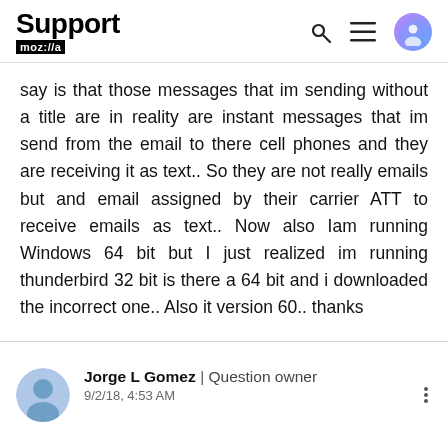Support moz://a
say is that those messages that im sending without a title are in reality are instant messages that im send from the email to there cell phones and they are receiving it as text.. So they are not really emails but and email assigned by their carrier ATT to receive emails as text.. Now also Iam running Windows 64 bit but I just realized im running thunderbird 32 bit is there a 64 bit and i downloaded the incorrect one.. Also it version 60.. thanks
Jorge L Gomez | Question owner
9/2/18, 4:53 AM